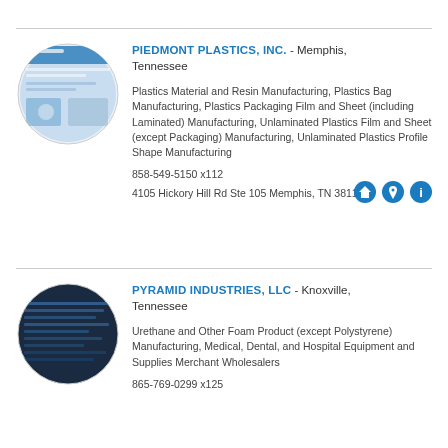PIEDMONT PLASTICS, INC. - Memphis, Tennessee
Plastics Material and Resin Manufacturing, Plastics Bag Manufacturing, Plastics Packaging Film and Sheet (including Laminated) Manufacturing, Unlaminated Plastics Film and Sheet (except Packaging) Manufacturing, Unlaminated Plastics Profile Shape Manufacturing
858-549-5150 x112
4105 Hickory Hill Rd Ste 105 Memphis, TN 38115
PYRAMID INDUSTRIES, LLC - Knoxville, Tennessee
Urethane and Other Foam Product (except Polystyrene) Manufacturing, Medical, Dental, and Hospital Equipment and Supplies Merchant Wholesalers
865-769-0299 x125